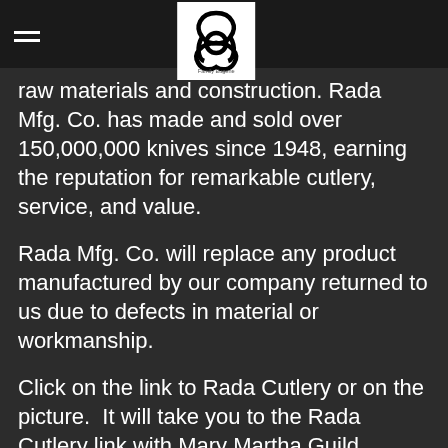[hamburger menu icon] [Trinity/knot logo]
raw materials and construction. Rada Mfg. Co. has made and sold over 150,000,000 knives since 1948, earning the reputation for remarkable cutlery, service, and value.
Rada Mfg. Co. will replace any product manufactured by our company returned to us due to defects in material or workmanship.
Click on the link to Rada Cutlery or on the picture.  It will take you to the Rada Cutlery link with Mary Martha Guild selected.  There will be a pop up asking if you want to support Mary Martha Guild